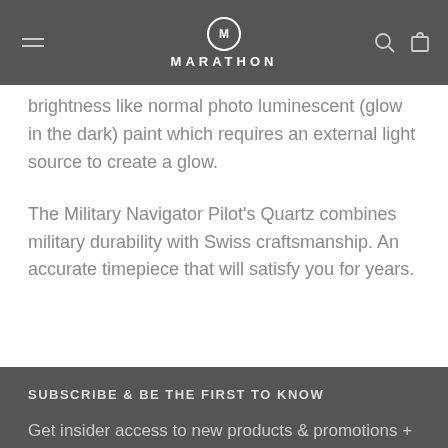MARATHON
brightness like normal photo luminescent (glow in the dark) paint which requires an external light source to create a glow.
The Military Navigator Pilot's Quartz combines military durability with Swiss craftsmanship. An accurate timepiece that will satisfy you for years.
SUBSCRIBE & BE THE FIRST TO KNOW
Get insider access to new products & promotions + 10 off your first purchase!